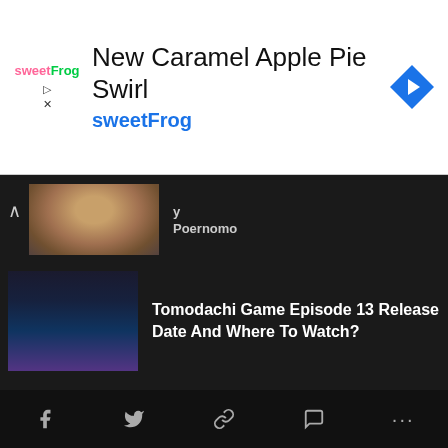[Figure (screenshot): sweetFrog advertisement banner with logo and 'New Caramel Apple Pie Swirl' text]
Poernomo
Tomodachi Game Episode 13 Release Date And Where To Watch?
Dragon Quest The Adventure Of Dai Episode 91 Release Date And Where To Watch?
Social sharing toolbar with Facebook, Twitter, link, comment, and more icons